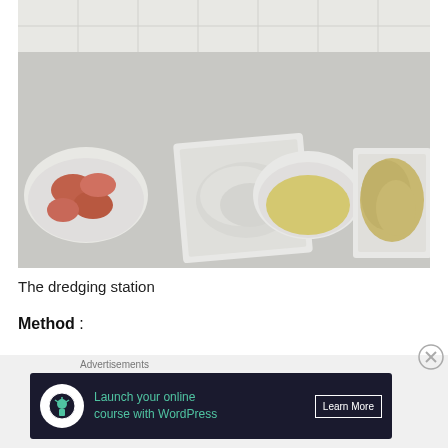[Figure (photo): A dredging station showing four items in a row on a grey surface: a white bowl with raw chicken pieces (left), a white square plate with flour (second), a white round bowl with egg wash or liquid (third), and a white square plate with breadcrumbs (right).]
The dredging station
Method :
Advertisements
[Figure (other): Advertisement banner for WordPress online course. Dark navy background with a white circle icon containing a tree/person symbol. Text reads: 'Launch your online course with WordPress' in teal, and a 'Learn More' button in white border.]